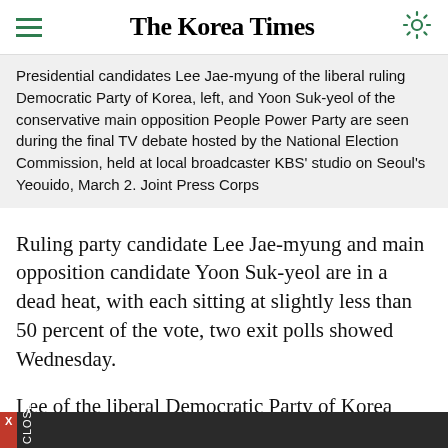The Korea Times
Presidential candidates Lee Jae-myung of the liberal ruling Democratic Party of Korea, left, and Yoon Suk-yeol of the conservative main opposition People Power Party are seen during the final TV debate hosted by the National Election Commission, held at local broadcaster KBS' studio on Seoul's Yeouido, March 2. Joint Press Corps
Ruling party candidate Lee Jae-myung and main opposition candidate Yoon Suk-yeol are in a dead heat, with each sitting at slightly less than 50 percent of the vote, two exit polls showed Wednesday.
Lee of the liberal Democratic Party of Korea (DPK) was expected to pull in 47.8 percent of the votes against 48.4 percent for Yoon of the conservative…